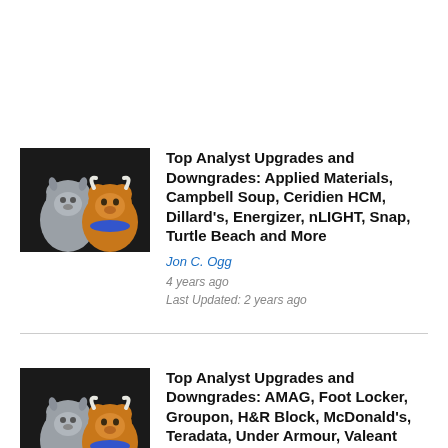[Figure (photo): Bull and bear figurines together, representing stock market bulls and bears]
Top Analyst Upgrades and Downgrades: Applied Materials, Campbell Soup, Ceridien HCM, Dillard's, Energizer, nLIGHT, Snap, Turtle Beach and More
Jon C. Ogg
4 years ago
Last Updated: 2 years ago
[Figure (photo): Bull and bear figurines together, representing stock market bulls and bears]
Top Analyst Upgrades and Downgrades: AMAG, Foot Locker, Groupon, H&R Block, McDonald's, Teradata, Under Armour, Valeant